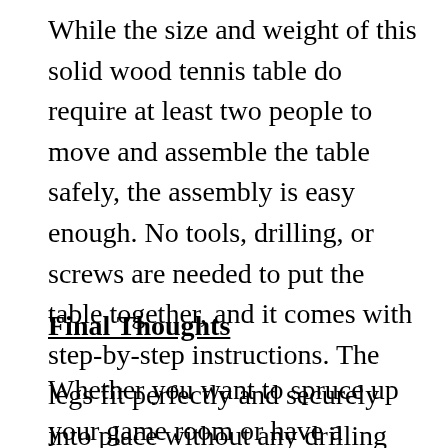While the size and weight of this solid wood tennis table do require at least two people to move and assemble the table safely, the assembly is easy enough. No tools, drilling, or screws are needed to put the table together, and it comes with step-by-step instructions. The legs fit perfectly and securely into place without any drilling required. The easy assembly process is a perk, and you'll be able to start playing right away.
Final Thoughts
Whether you want to spruce up your game room or have a quality table tennis in your business' break room, the Barrington Fremont